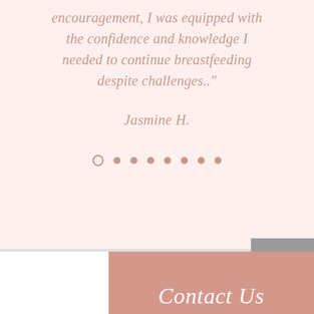encouragement, I was equipped with the confidence and knowledge I needed to continue breastfeeding despite challenges.."
Jasmine H.
[Figure (other): Carousel pagination dots: one open circle followed by seven filled circles in rose/mauve color]
Contact Us
The la... and So...